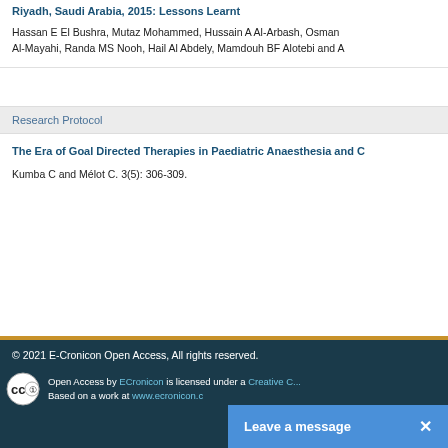Riyadh, Saudi Arabia, 2015: Lessons Learnt
Hassan E El Bushra, Mutaz Mohammed, Hussain A Al-Arbash, Osman Al-Mayahi, Randa MS Nooh, Hail Al Abdely, Mamdouh BF Alotebi and A
Research Protocol
The Era of Goal Directed Therapies in Paediatric Anaesthesia and C
Kumba C and Mélot C. 3(5): 306-309.
© 2021 E-Cronicon Open Access, All rights reserved.
Open Access by ECronicon... Creative C...
Based on a work at www.ecronicon.c...